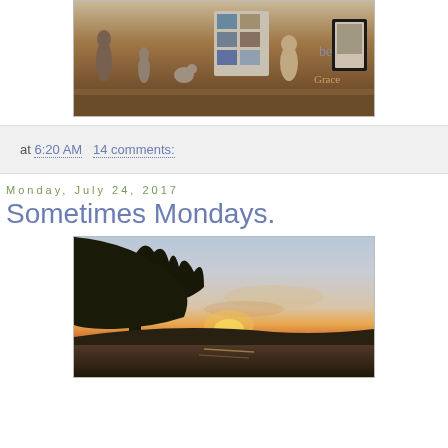[Figure (photo): A shelf with bird figurines, decorative items, framed photos, and decorative letter/word signs on a dark wooden surface]
at 6:20 AM    14 comments:
Monday, July 24, 2017
Sometimes Mondays.
[Figure (photo): A sunset landscape photo with tree silhouette on the left and water reflection at the bottom, orange and pink sky]